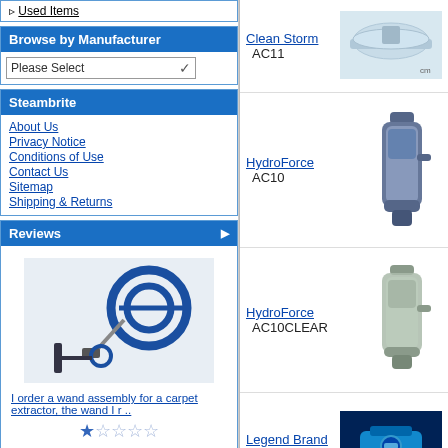Used Items
Browse by Manufacturer
Steambrite
About Us
Privacy Notice
Conditions of Use
Contact Us
Sitemap
Shipping & Returns
Reviews
[Figure (photo): Carpet cleaning wand assembly product photo with hoses and accessories]
I order a wand assembly for a carpet extractor, the wand I r ..
Translate
English
French
Spanish
German
Italian
| Brand | SKU | Image |
| --- | --- | --- |
| Clean Storm | AC11 | product image |
| HydroForce | AC10 | product image |
| HydroForce | AC10CLEAR | product image |
| Legend Brand | 68-134S | product image |